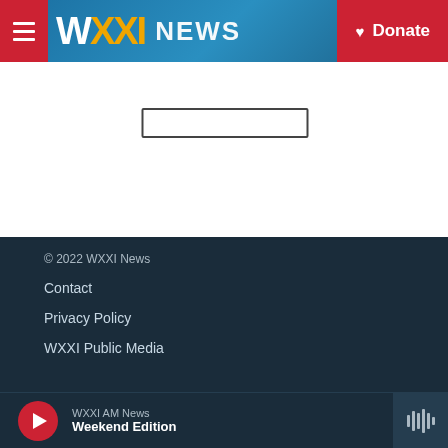WXXI News — Donate
[Figure (screenshot): WXXI News website header with logo, navigation menu button, and red Donate button on a blue background]
[Figure (screenshot): Search box input field]
© 2022 WXXI News
Contact
Privacy Policy
WXXI Public Media
WXXI AM News — Weekend Edition (audio player bar)